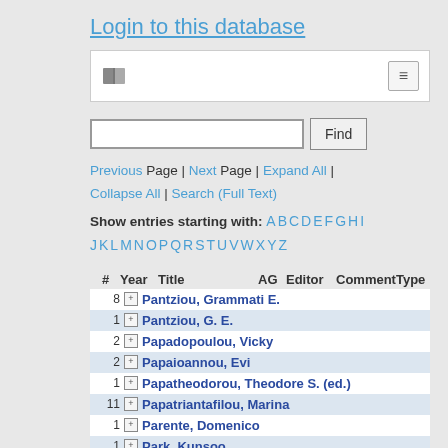Login to this database
[Figure (screenshot): Navigation bar with book icon and hamburger menu button]
Search box with Find button
Previous Page | Next Page | Expand All | Collapse All | Search (Full Text)
Show entries starting with: A B C D E F G H I J K L M N O P Q R S T U V W X Y Z
| # | Year | Title | AG | Editor | Comment | Type |
| --- | --- | --- | --- | --- | --- | --- |
| 8 |  | Pantziou, Grammati E. |  |  |  |  |
| 1 |  | Pantziou, G. E. |  |  |  |  |
| 2 |  | Papadopoulou, Vicky |  |  |  |  |
| 2 |  | Papaioannou, Evi |  |  |  |  |
| 1 |  | Papatheodorou, Theodore S. (ed.) |  |  |  |  |
| 11 |  | Papatriantafilou, Marina |  |  |  |  |
| 1 |  | Parente, Domenico |  |  |  |  |
| 1 |  | Park, Kunsoo |  |  |  |  |